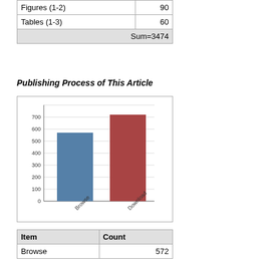|  |  |
| --- | --- |
| Figures (1-2) | 90 |
| Tables (1-3) | 60 |
|  | Sum=3474 |
Publishing Process of This Article
[Figure (bar-chart): ]
| Item | Count |
| --- | --- |
| Browse | 572 |